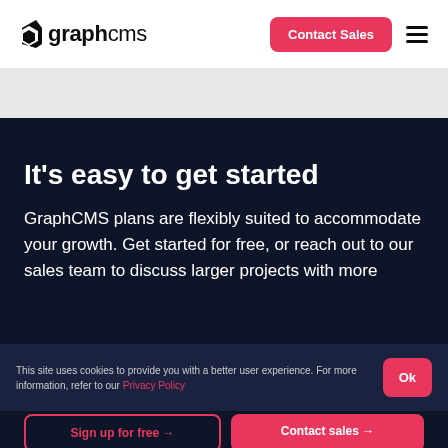graphcms — Contact Sales
It's easy to get started
GraphCMS plans are flexibly suited to accommodate your growth. Get started for free, or reach out to our sales team to discuss larger projects with more options.
This site uses cookies to provide you with a better user experience. For more information, refer to our Privacy Policy
Sign up for free →
Contact sales →